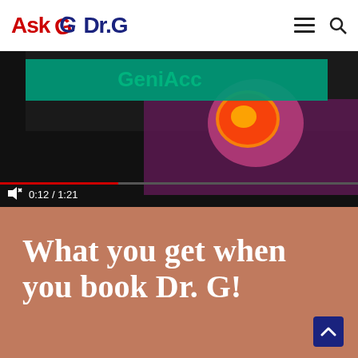Ask Dr.G
[Figure (screenshot): Video player showing a colorful abstract/artistic video with a green banner overlay. A red progress bar shows 0:12 / 1:21 elapsed time. A mute icon and time display are visible in the bottom control bar.]
What you get when you book Dr. G!